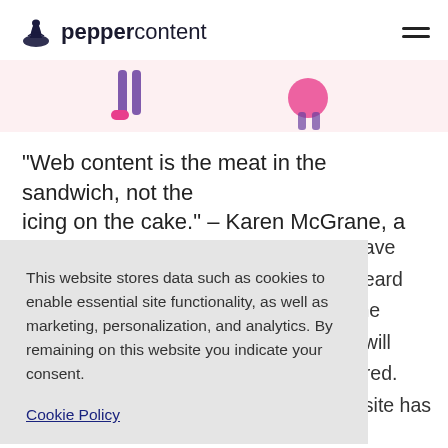peppercontent
[Figure (illustration): Decorative pink banner strip with illustrated human figure legs/feet in purple and pink, partial characters visible]
“Web content is the meat in the sandwich, not the icing on the cake.” – Karen McGrane, a renowned
This website stores data such as cookies to enable essential site functionality, as well as marketing, personalization, and analytics. By remaining on this website you indicate your consent.
Cookie Policy
nave heard the t will ared. osite has